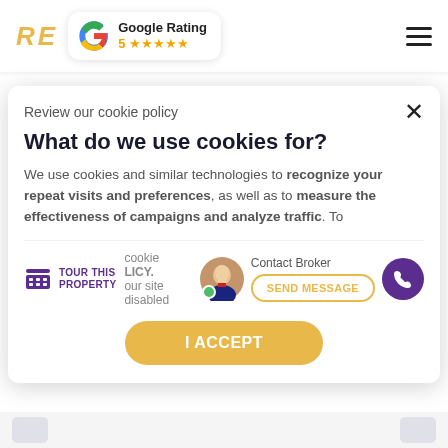RE | Google Rating 5 ★★★★★
$2,900,000
4260 Pacific Highway
4260 Pacific Hwy, Bellingham, W...
FOR SALE | LAND | NEW
2,050,000
Review our cookie policy
What do we use cookies for?
We use cookies and similar technologies to recognize your repeat visits and preferences, as well as to measure the effectiveness of campaigns and analyze traffic. To...
TOUR THIS PROPERTY
Contact Broker
SEND MESSAGE
I ACCEPT